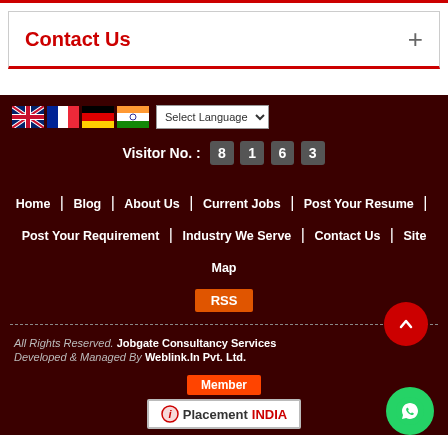Contact Us
[Figure (screenshot): Footer section of a website showing language flags, visitor counter, navigation links, RSS button, copyright info, and PlacementIndia member badge]
Visitor No. : 8 1 6 3
Home | Blog | About Us | Current Jobs | Post Your Resume | Post Your Requirement | Industry We Serve | Contact Us | Site Map
RSS
All Rights Reserved. Jobgate Consultancy Services
Developed & Managed By Weblink.In Pvt. Ltd.
Member
[Figure (logo): PlacementINDIA logo]